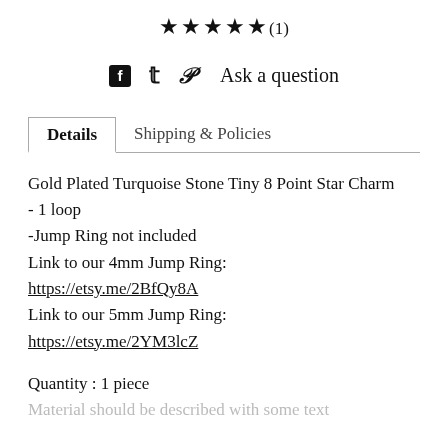★★★★★(1)
f  𝕏  𝒫  Ask a question
Details | Shipping & Policies
Gold Plated Turquoise Stone Tiny 8 Point Star Charm
- 1 loop
-Jump Ring not included
Link to our 4mm Jump Ring:
https://etsy.me/2BfQy8A
Link to our 5mm Jump Ring:
https://etsy.me/2YM3lcZ
Quantity : 1 piece